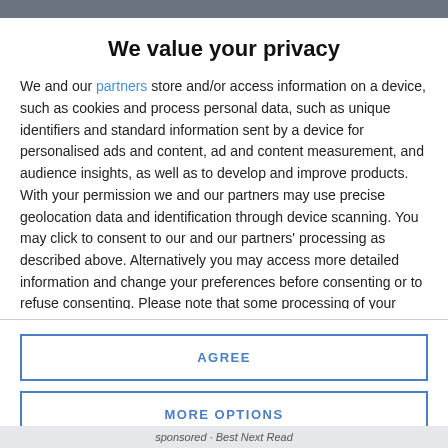We value your privacy
We and our partners store and/or access information on a device, such as cookies and process personal data, such as unique identifiers and standard information sent by a device for personalised ads and content, ad and content measurement, and audience insights, as well as to develop and improve products. With your permission we and our partners may use precise geolocation data and identification through device scanning. You may click to consent to our and our partners' processing as described above. Alternatively you may access more detailed information and change your preferences before consenting or to refuse consenting. Please note that some processing of your personal data may not require your consent, but you have a right to
AGREE
MORE OPTIONS
sponsored · Best Next Read